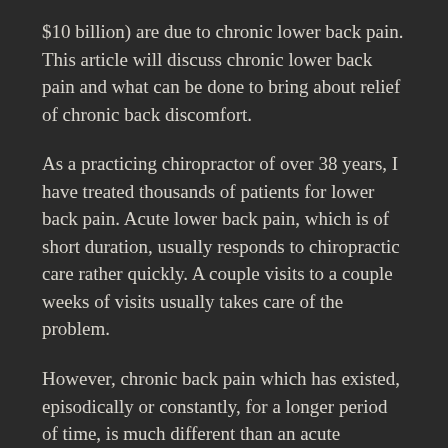$10 billion) are due to chronic lower back pain. This article will discuss chronic lower back pain and what can be done to bring about relief of chronic back discomfort.
As a practicing chiropractor of over 38 years, I have treated thousands of patients for lower back pain. Acute lower back pain, which is of short duration, usually responds to chiropractic care rather quickly. A couple visits to a couple weeks of visits usually takes care of the problem.
However, chronic back pain which has existed, episodically or constantly, for a longer period of time, is much different than an acute condition. Chronic back discomfort involves irritated and inflamed tissues such as the spinal and pelvic joints, ligaments, nerves, spinal discs, fascia and muscles.